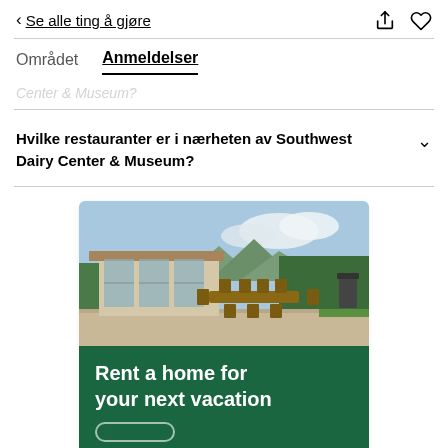< Se alle ting å gjøre
Området  Anmeldelser
Center & Museum?
Hvilke restauranter er i nærheten av Southwest Dairy Center & Museum?
[Figure (photo): Outdoor patio with dining table and chairs, modern house with large glass windows, green trees and mountains in background]
Rent a home for your next vacation